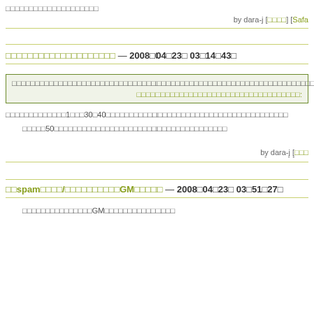□□□□□□□□□□□□□□□□□□□□
by dara-j [□□□□] [Safa...
□□□□□□□□□□□□□□□□□□□□ — 2008□04□23□ 03□14□43□
□□□□□□□□□□□□□□□□□□□□□□□□□□□□□□□□□□□□□□□□□□□□□□□□□□□□□□□□□□□□□□□□□□□□□□□□□□□□□□□□□□□□□□□□□□□□□□□□□□□□□□□□□□□□□□□□□□□□□□□□□□□□□□□□□□□□□□□□□□□□□□□□□□□□□□□□□□□□□□□□□□□□□□□□□□□□□□□□□□□□□□□:
□□□□□□□□□□□□□1□□□30□40□□□□□□□□□□□□□□□□□□□□□□□□□□□□□□□□□□□□□□□
□□□□□50□□□□□□□□□□□□□□□□□□□□□□□□□□□□□□□□□□□□□
by dara-j [□□...
□□spam□□□□/□□□□□□□□□□GM□□□□□ — 2008□04□23□ 03□51□27□
□□□□□□□□□□□□□□□GM□□□□□□□□□□□□□□□